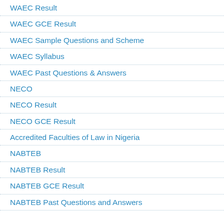WAEC Result
WAEC GCE Result
WAEC Sample Questions and Scheme
WAEC Syllabus
WAEC Past Questions & Answers
NECO
NECO Result
NECO GCE Result
Accredited Faculties of Law in Nigeria
NABTEB
NABTEB Result
NABTEB GCE Result
NABTEB Past Questions and Answers